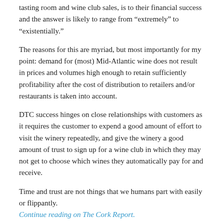tasting room and wine club sales, is to their financial success and the answer is likely to range from “extremely” to “existentially.”
The reasons for this are myriad, but most importantly for my point: demand for (most) Mid-Atlantic wine does not result in prices and volumes high enough to retain sufficiently profitability after the cost of distribution to retailers and/or restaurants is taken into account.
DTC success hinges on close relationships with customers as it requires the customer to expend a good amount of effort to visit the winery repeatedly, and give the winery a good amount of trust to sign up for a wine club in which they may not get to choose which wines they automatically pay for and receive.
Time and trust are not things that we humans part with easily or flippantly. Continue reading on The Cork Report.
Share this:
Facebook
Twitter
Email
Print
WhatsApp
Reddit
Pinterest
LinkedIn